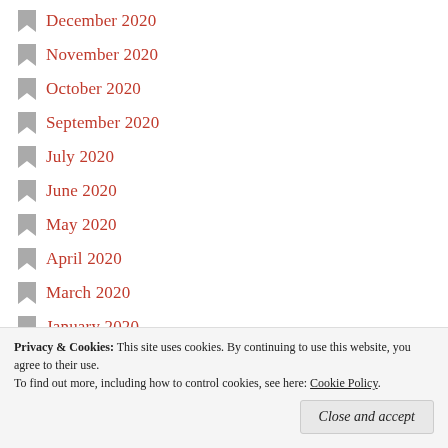December 2020
November 2020
October 2020
September 2020
July 2020
June 2020
May 2020
April 2020
March 2020
January 2020
December 2019
November 2019
October 2019
May 2019
Privacy & Cookies: This site uses cookies. By continuing to use this website, you agree to their use. To find out more, including how to control cookies, see here: Cookie Policy
Close and accept